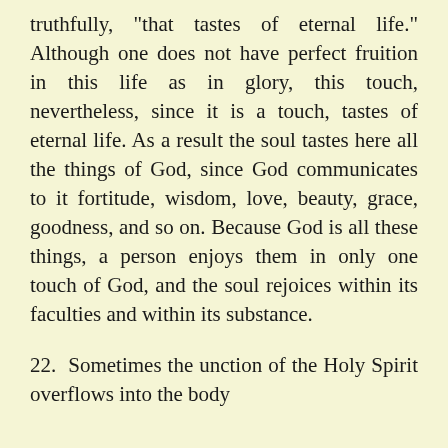truthfully, "that tastes of eternal life." Although one does not have perfect fruition in this life as in glory, this touch, nevertheless, since it is a touch, tastes of eternal life. As a result the soul tastes here all the things of God, since God communicates to it fortitude, wisdom, love, beauty, grace, goodness, and so on. Because God is all these things, a person enjoys them in only one touch of God, and the soul rejoices within its faculties and within its substance.
22. Sometimes the unction of the Holy Spirit overflows into the body